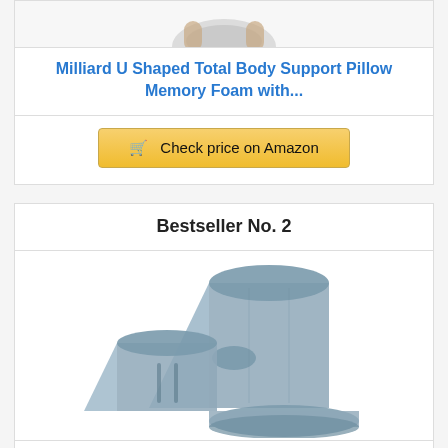[Figure (photo): Partial view of a U-shaped body support pillow product image (cropped at top)]
Milliard U Shaped Total Body Support Pillow Memory Foam with...
Check price on Amazon
Bestseller No. 2
[Figure (photo): Lunix LX8 Adjustable 4pcs Orthopedic Bed Wedge pillow set in blue/gray fabric, showing multiple wedge and bolster pieces arranged together]
Lunix LX8 Adjustable 4pcs Orthopedic Bed Wedge